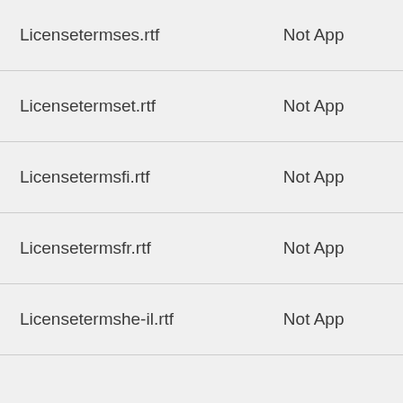| Filename | Status |
| --- | --- |
| Licensetermses.rtf | Not App |
| Licensetermset.rtf | Not App |
| Licensetermsfi.rtf | Not App |
| Licensetermsfr.rtf | Not App |
| Licensetermshe-il.rtf | Not App |